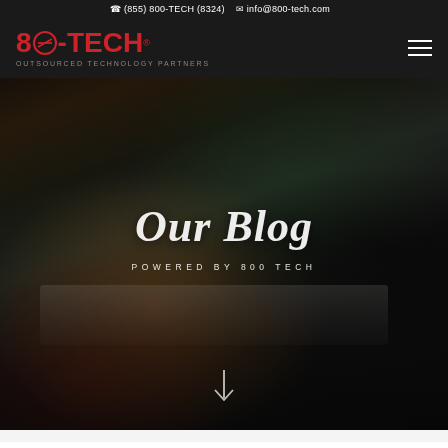(855) 800-TECH (8324)  info@800-tech.com
[Figure (logo): 800-TECH logo with red text and circular icon, tagline: OUTSOURCED TECHNOLOGY PARTNERS]
[Figure (photo): Person typing on a laptop at a table with cushions and plants in the background, dark moody lighting]
Our Blog
POWERED BY 800 TECH